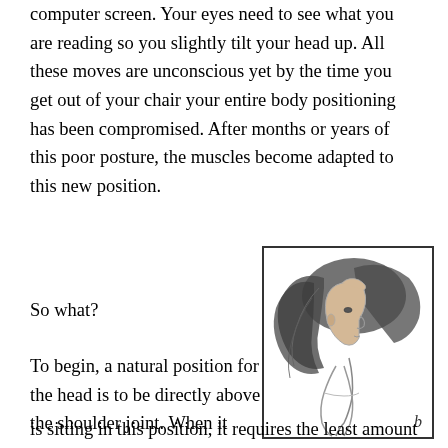computer screen.  Your eyes need to see what you are reading so you slightly tilt your head up.  All these moves are unconscious yet by the time you get out of your chair your entire body positioning has been compromised.  After months or years of this poor posture, the muscles become adapted to this new position.
So what?
[Figure (illustration): Pencil sketch illustration of a person viewed from the side showing forward head posture, with hair flowing back and head jutting forward from the shoulder. Labeled 'b'.]
To begin, a natural position for the head is to be directly above the shoulder joint.  When it is sitting in this position, it requires the least amount of